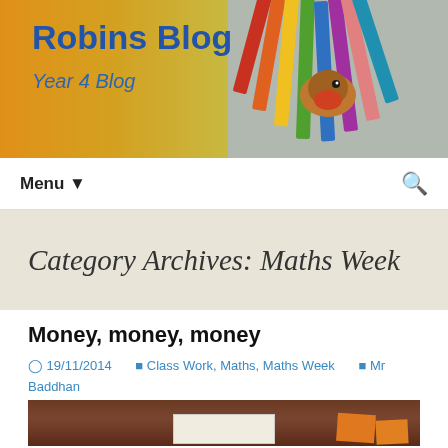Robins Blog — Year 4 Blog
Category Archives: Maths Week
Money, money, money
19/11/2014  Class Work, Maths, Maths Week  Mr Baddhan
[Figure (photo): Classroom photo showing a table with worksheets, orange cards with items on a dark red/brown table surface]